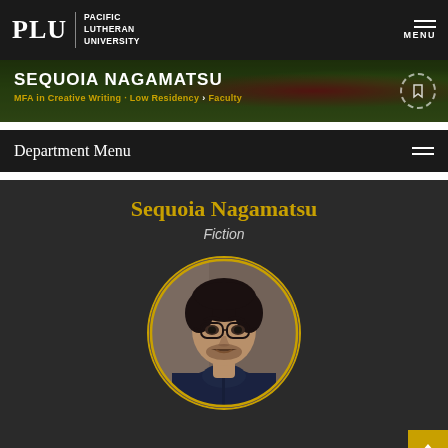PLU PACIFIC LUTHERAN UNIVERSITY MENU
SEQUOIA NAGAMATSU
MFA in Creative Writing - Low Residency > Faculty
Department Menu
Sequoia Nagamatsu
Fiction
[Figure (photo): Circular portrait photo of Sequoia Nagamatsu, a man with glasses and dark hair, wearing a dark shirt, set against a blurred background]